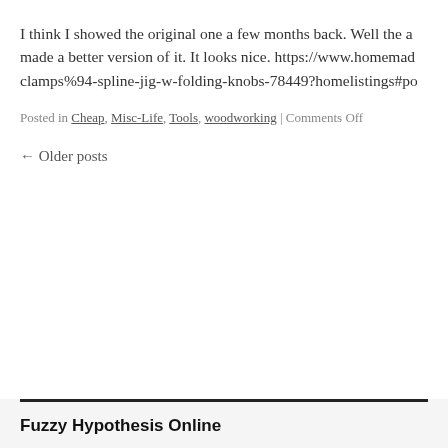I think I showed the original one a few months back. Well the a made a better version of it. It looks nice. https://www.homemad clamps%94-spline-jig-w-folding-knobs-78449?homelistings#po
Posted in Cheap, Misc-Life, Tools, woodworking | Comments Off
← Older posts
Fuzzy Hypothesis Online